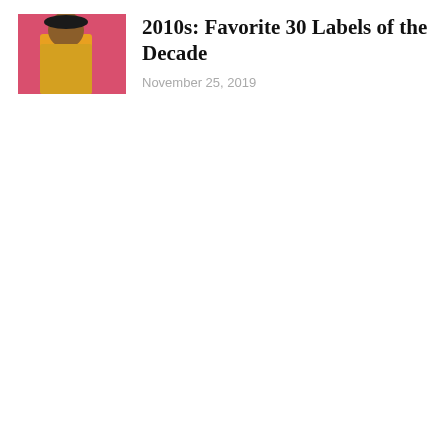[Figure (photo): A person wearing a yellow jacket and gold jewelry against a pink/red background]
2010s: Favorite 30 Labels of the Decade
November 25, 2019